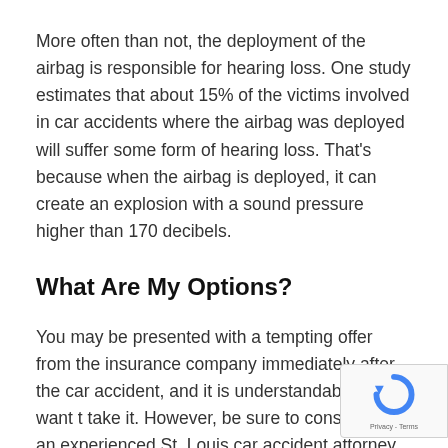More often than not, the deployment of the airbag is responsible for hearing loss. One study estimates that about 15% of the victims involved in car accidents where the airbag was deployed will suffer some form of hearing loss. That's because when the airbag is deployed, it can create an explosion with a sound pressure higher than 170 decibels.
What Are My Options?
You may be presented with a tempting offer from the insurance company immediately after the car accident, and it is understandable if you want to take it. However, be sure to consult with an experienced St. Louis car accident attorney first.